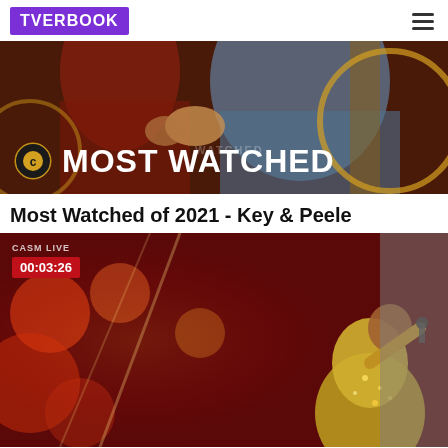TVERBOOK
[Figure (screenshot): Comedy Central Most Watched banner image showing two people with 'MOST WATCHED' text overlay and Comedy Central logo]
Most Watched of 2021 - Key & Peele
[Figure (screenshot): Video thumbnail of performer in gold sequin outfit singing into microphone at concert, with red background and duration badge showing 00:03:26]